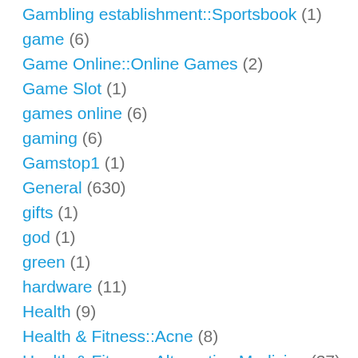Gambling establishment::Sportsbook (1)
game (6)
Game Online::Online Games (2)
Game Slot (1)
games online (6)
gaming (6)
Gamstop1 (1)
General (630)
gifts (1)
god (1)
green (1)
hardware (11)
Health (9)
Health & Fitness::Acne (8)
Health & Fitness::Alternative Medicine (37)